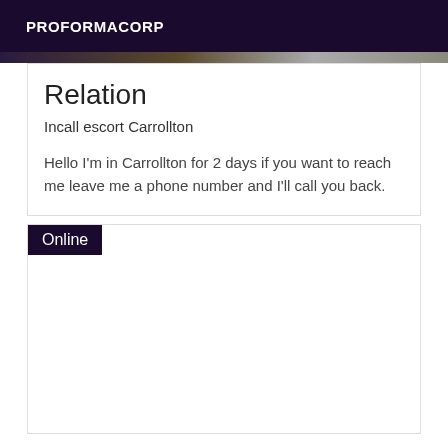PROFORMACORP
Relation
Incall escort Carrollton
Hello I'm in Carrollton for 2 days if you want to reach me leave me a phone number and I'll call you back.
Online